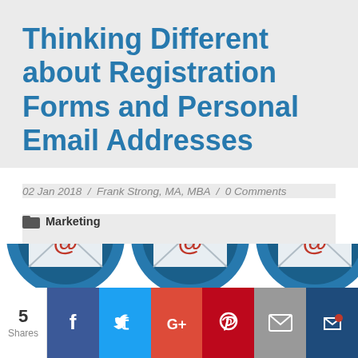Thinking Different about Registration Forms and Personal Email Addresses
02 Jan 2018 / Frank Strong, MA, MBA / 0 Comments
Marketing
[Figure (illustration): Three circular blue icons each showing an envelope with an @ symbol, representing email addresses. Partially visible at bottom of page.]
5 Shares